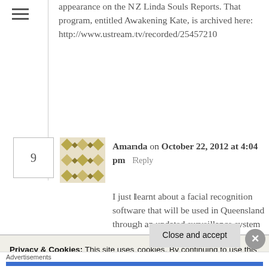appearance on the NZ Linda Souls Reports. That program, entitled Awakening Kate, is archived here: http://www.ustream.tv/recorded/25457210
Amanda on October 22, 2012 at 4:04 pm   Reply
I just learnt about a facial recognition software that will be used in Queensland through an updated surveillance system with CCTV camera's. Apparently Smart Licences
Privacy & Cookies: This site uses cookies. By continuing to use this website, you agree to their use.
To find out more, including how to control cookies, see here: Cookie Policy
Close and accept
Advertisements